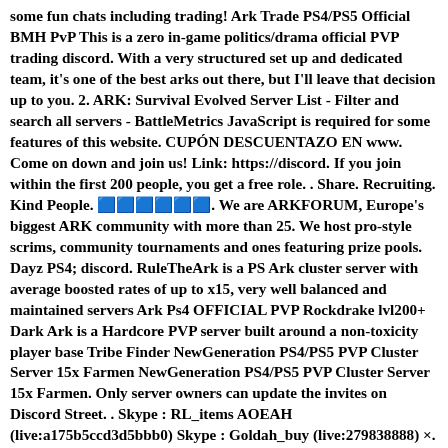some fun chats including trading! Ark Trade PS4/PS5 Official BMH PvP This is a zero in-game politics/drama official PVP trading discord. With a very structured set up and dedicated team, it's one of the best arks out there, but I'll leave that decision up to you. 2. ARK: Survival Evolved Server List - Filter and search all servers - BattleMetrics JavaScript is required for some features of this website. CUPÓN DESCUENTAZO EN www. Come on down and join us! Link: https://discord. If you join within the first 200 people, you get a free role. . Share. Recruiting. Kind People. 🟦🟦🟦🟦🟦🟦. We are ARKFORUM, Europe's biggest ARK community with more than 25. We host pro-style scrims, community tournaments and ones featuring prize pools. Dayz PS4; discord. RuleTheArk is a PS Ark cluster server with average boosted rates of up to x15, very well balanced and maintained servers Ark Ps4 OFFICIAL PVP Rockdrake lvl200+ Dark Ark is a Hardcore PVP server built around a non-toxicity player base Tribe Finder NewGeneration PS4/PS5 PVP Cluster Server 15x Farmen NewGeneration PS4/PS5 PVP Cluster Server 15x Farmen. Only server owners can update the invites on Discord Street. . Skype : RL_items AOEAH (live:a175b5ccd3d5bbb0) Skype : Goldah_buy (live:279838888) ×. Find your discord server below 66 Kill To Survive Ark PS4 KTS is a new Ark server. So Switch Lite, Xbox One S, and Original 500GB PS4s can all be traded in to nab a Series S for a maximum price of